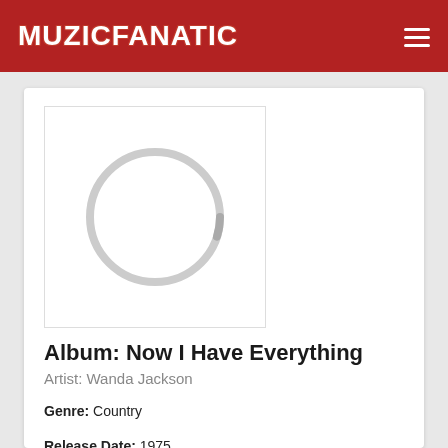MUZICFANATIC
[Figure (illustration): Album cover placeholder showing a loading spinner circle on white background]
Album: Now I Have Everything
Artist: Wanda Jackson
Genre: Country
Release Date: 1975